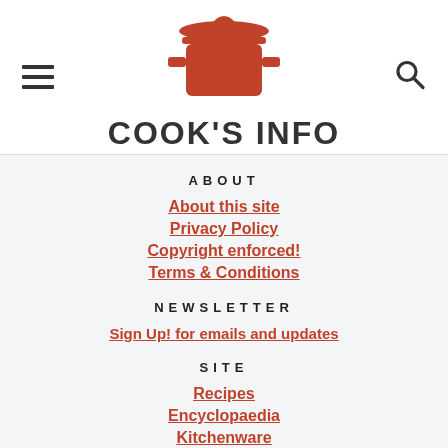COOK'S INFO
ABOUT
About this site
Privacy Policy
Copyright enforced!
Terms & Conditions
NEWSLETTER
Sign Up! for emails and updates
SITE
Recipes
Encyclopaedia
Kitchenware